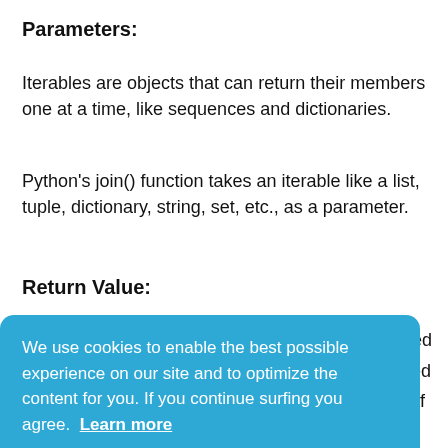Parameters:
Iterables are objects that can return their members one at a time, like sequences and dictionaries.
Python’s join() function takes an iterable like a list, tuple, dictionary, string, set, etc., as a parameter.
Return Value:
rned
ated
at if
he
[Figure (screenshot): Cookie consent banner with blue background reading: 'We use cookies to enable the best possible experience on our site and to optimize the content for you. If you continue surfing you agree. Learn more' and a green 'Got it!' button.]